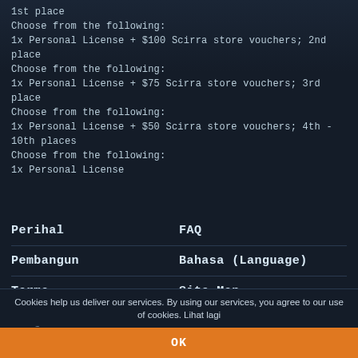1st place
Choose from the following:
1x Personal License + $100 Scirra store vouchers; 2nd place
Choose from the following:
1x Personal License + $75 Scirra store vouchers; 3rd place
Choose from the following:
1x Personal License + $50 Scirra store vouchers; 4th - 10th places
Choose from the following:
1x Personal License
Perihal
FAQ
Pembangun
Bahasa (Language)
Terma
Site Map
Blog
Facebook
YouTube
Contact Us
Cookies help us deliver our services. By using our services, you agree to our use of cookies. Lihat lagi
OK